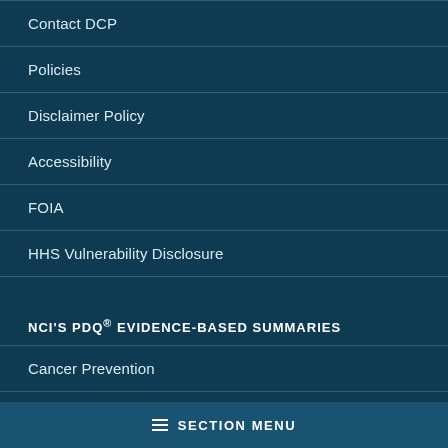Contact DCP
Policies
Disclaimer Policy
Accessibility
FOIA
HHS Vulnerability Disclosure
NCI'S PDQ® EVIDENCE-BASED SUMMARIES
Cancer Prevention
Screening/Detection/Testing for Cancer
Supportive and Palliative Care
≡ SECTION MENU